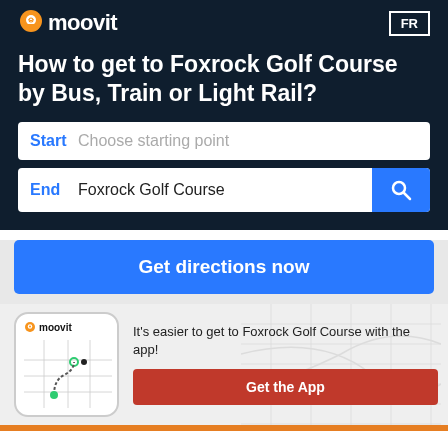moovit  FR
How to get to Foxrock Golf Course by Bus, Train or Light Rail?
Start  Choose starting point
End  Foxrock Golf Course
Get directions now
[Figure (screenshot): Moovit app phone mockup showing a map with route]
It's easier to get to Foxrock Golf Course with the app!
Get the App